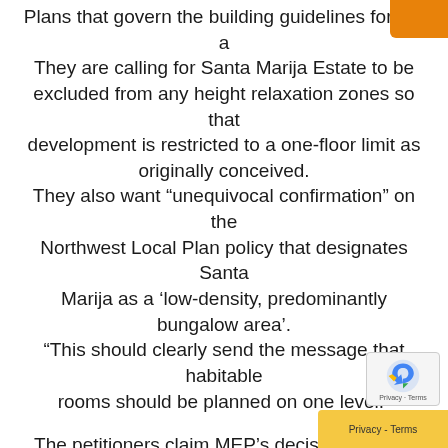Plans that govern the building guidelines for the a[rea]. They are calling for Santa Marija Estate to be excluded from any height relaxation zones so that development is restricted to a one-floor limit as originally conceived. They also want “unequivocal confirmation” on the Northwest Local Plan policy that designates Santa Marija as a ‘low-density, predominantly bungalow area’. “This should clearly send the message that habitable rooms should be planned on one level.”
The petitioners claim MEP’s decision to allow two adjacent semi-detached units on one plot has provided developers with “the opportunity and financial attraction of buying old bungalows to replace them with two semi-detached units” and “is still doing most damage to the character of the estate”. They also want to limit plot density to 25% of the entire one-tumolo plots, to allow the rest to be